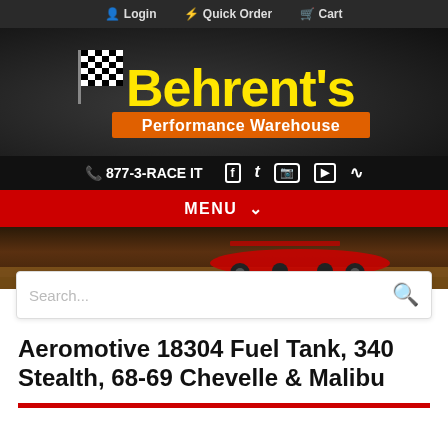Login  Quick Order  Cart
[Figure (logo): Behrent's Performance Warehouse logo with checkered flag, yellow text on dark background with orange banner]
877-3-RACE IT  (social icons: Facebook, Twitter, Instagram, YouTube, RSS)
MENU
[Figure (photo): Race car hero image background with red sprint car on dirt track]
Search...
Aeromotive 18304 Fuel Tank, 340 Stealth, 68-69 Chevelle & Malibu